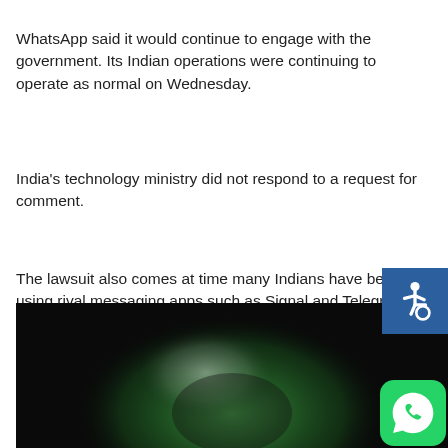WhatsApp said it would continue to engage with the government. Its Indian operations were continuing to operate as normal on Wednesday.
India's technology ministry did not respond to a request for comment.
The lawsuit also comes at time many Indians have begun using rival messaging apps such as Signal and Telegram after WhatsApp introduced a new privacy policy earlier this year, which allows it to share some data with Facebook and other group firms.
[Figure (photo): A blurred photo of a green WhatsApp logo on a dark/black background, with a WhatsApp chat bubble icon overlay in the bottom right corner.]